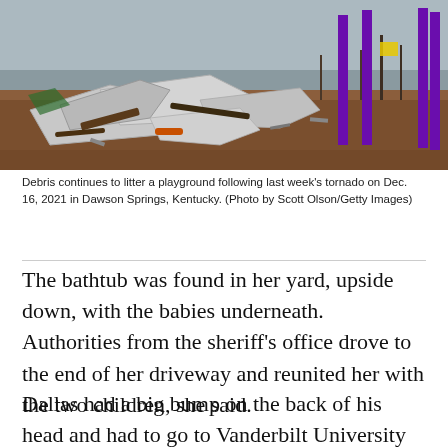[Figure (photo): A debris-filled playground following a tornado in Dawson Springs, Kentucky. Twisted metal sheeting, broken wood, and other wreckage litter reddish-brown ground. Purple playground posts remain standing in the background against a grey overcast sky.]
Debris continues to litter a playground following last week's tornado on Dec. 16, 2021 in Dawson Springs, Kentucky. (Photo by Scott Olson/Getty Images)
The bathtub was found in her yard, upside down, with the babies underneath. Authorities from the sheriff's office drove to the end of her driveway and reunited her with the two children, she said.
Dallas had a big bump on the back of his head and had to go to Vanderbilt University Medical Center Nashville